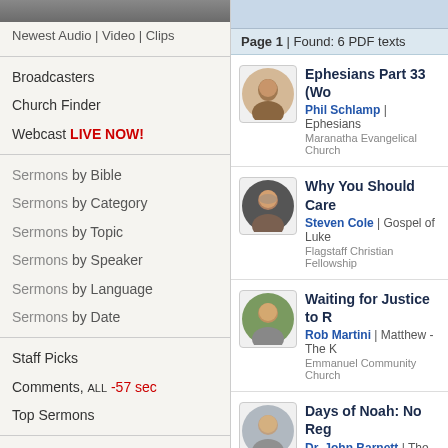Newest Audio | Video | Clips
Broadcasters
Church Finder
Webcast LIVE NOW!
Sermons by Bible
Sermons by Category
Sermons by Topic
Sermons by Speaker
Sermons by Language
Sermons by Date
Staff Picks
Comments, ALL -57 sec
Top Sermons
Online Bible
Hymnal
Daily Reading
Our Services
Broadcaster Dashboard
Members Only
Page 1 | Found: 6 PDF texts
Ephesians Part 33 (Wo...
Phil Schlamp | Ephesians
Maranatha Evangelical Church
Why You Should Care...
Steven Cole | Gospel of Luke...
Flagstaff Christian Fellowship
Waiting for Justice to R...
Rob Martini | Matthew - The K...
Emmanuel Community Church
Days of Noah: No Reg...
Dr. John Barnett | The World...
DTBM, International